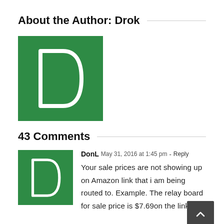About the Author: Drok
[Figure (illustration): Green square avatar with white letter D silhouette representing the author Drok]
43 Comments
[Figure (illustration): Green square avatar with white letter D silhouette for commenter DonL]
DonL  May 31, 2016 at 1:45 pm - Reply
Your sale prices are not showing up on Amazon link that i am being routed to. Example. The relay board for sale price is $7.69on the link!